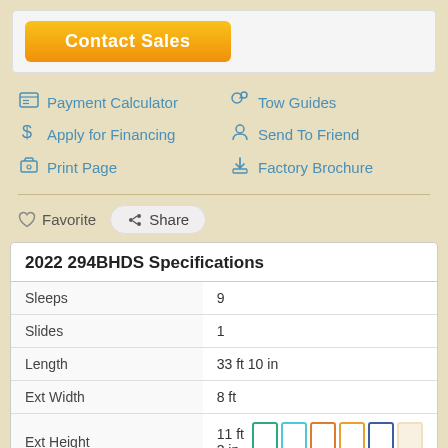Contact Sales
Payment Calculator
Tow Guides
Apply for Financing
Send To Friend
Print Page
Factory Brochure
Favorite  Share
2022 294BHDS Specifications
| Specification | Value |
| --- | --- |
| Sleeps | 9 |
| Slides | 1 |
| Length | 33 ft 10 in |
| Ext Width | 8 ft |
| Ext Height | 11 ft 3 in |
| Int Height | 6 ft 9 in |
| Interior Color | Storm |